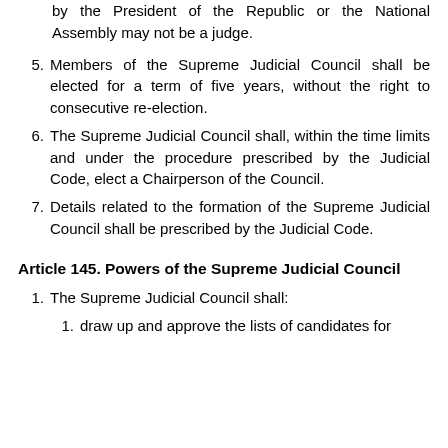by the President of the Republic or the National Assembly may not be a judge.
5. Members of the Supreme Judicial Council shall be elected for a term of five years, without the right to consecutive re-election.
6. The Supreme Judicial Council shall, within the time limits and under the procedure prescribed by the Judicial Code, elect a Chairperson of the Council.
7. Details related to the formation of the Supreme Judicial Council shall be prescribed by the Judicial Code.
Article 145. Powers of the Supreme Judicial Council
1. The Supreme Judicial Council shall:
1. draw up and approve the lists of candidates for